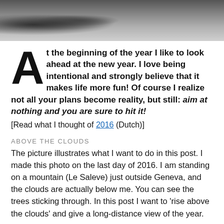[Figure (photo): Black and white photograph taken above the clouds on a mountain (Le Saleve), with dark trees and cloudy sky visible below.]
At the beginning of the year I like to look ahead at the new year. I love being intentional and strongly believe that it makes life more fun! Of course I realize not all your plans become reality, but still: aim at nothing and you are sure to hit it! [Read what I thought of 2016 (Dutch)]
ABOVE THE CLOUDS
The picture illustrates what I want to do in this post. I made this photo on the last day of 2016. I am standing on a mountain (Le Saleve) just outside Geneva, and the clouds are actually below me. You can see the trees sticking through. In this post I want to 'rise above the clouds' and give a long-distance view of the year.
A PHOTOGRAPHER'S VISION FOR 2017